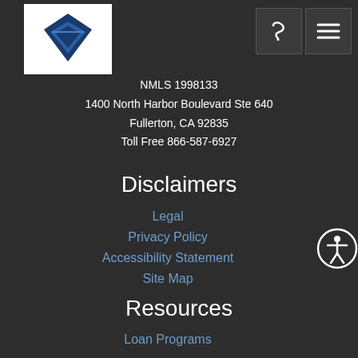[Figure (logo): Company logo with geometric diamond/arrow shape in blue and white]
[Figure (other): Phone icon button (dark square with white phone symbol)]
[Figure (other): Menu icon button (dark square with white hamburger menu lines)]
NMLS 1998133
1400 North Harbor Boulevard Ste 640
Fullerton, CA 92835
Toll Free 866-587-6927
Disclaimers
Legal
Privacy Policy
Accessibility Statement
Site Map
Resources
Loan Programs
Loan Process
Mortgage Basics
Online Forms
FAQ
[Figure (other): Accessibility icon - circular badge with wheelchair user symbol]